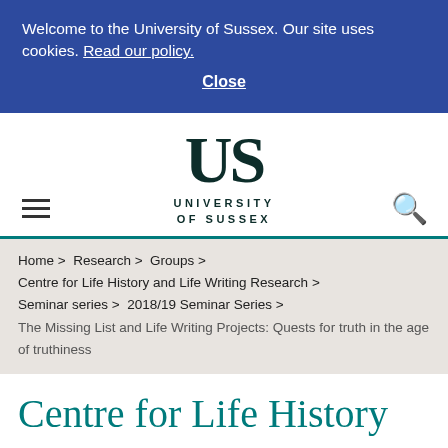Welcome to the University of Sussex. Our site uses cookies. Read our policy.
Close
[Figure (logo): University of Sussex logo with large 'US' monogram and text UNIVERSITY OF SUSSEX below]
Home > Research > Groups > Centre for Life History and Life Writing Research > Seminar series > 2018/19 Seminar Series > The Missing List and Life Writing Projects: Quests for truth in the age of truthiness
Centre for Life History